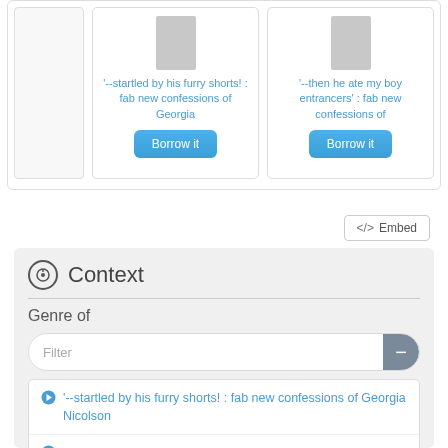'--startled by his furry shorts! : fab new confessions of Georgia
'--then he ate my boy entrancers' : fab new confessions of
<> Embed
Context
Genre of
Filter
'--startled by his furry shorts! : fab new confessions of Georgia Nicolson
'--then he ate my boy entrancers' : fab new confessions of Georgia Nicolson
(partially visible)